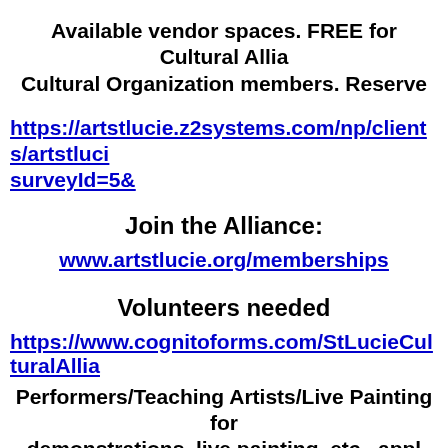Available vendor spaces. FREE for Cultural Alliance Cultural Organization members. Reserve
https://artstlucie.z2systems.com/np/clients/artstluci... surveyId=5&
Join the Alliance:
www.artstlucie.org/memberships
Volunteers needed
https://www.cognitoforms.com/StLucieCulturalAllia...
Performers/Teaching Artists/Live Painting for demonstrations, live painting, etc., appl